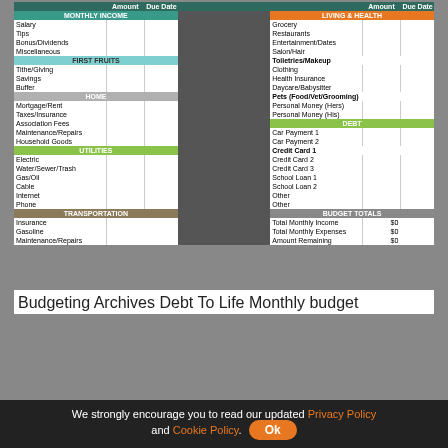|  | Amount | Due Date |  | Amount | Due Date |
| --- | --- | --- | --- | --- | --- |
| MONTHLY INCOME |  |  | LIVING & HEALTH |  |  |
| Salary |  |  | Grocery |  |  |
| Tips |  |  | Restaurants |  |  |
| Bonus/Dividends |  |  | Entertainment/Dates |  |  |
| Miscellaneous |  |  | Salon/Hair |  |  |
| FIRST FRUITS |  |  | Toiletries/Makeup |  |  |
| Tithe/Giving |  |  | Clothing |  |  |
| Savings |  |  | Health Insurance |  |  |
| Buffer |  |  | Daycare/Babysitter |  |  |
| HOME |  |  | Pets (Food/Vet/Grooming) |  |  |
| Mortgage/Rent |  |  | Personal Money (Hers) |  |  |
| Taxes/Insurance |  |  | Personal Money (His) |  |  |
| Association Fees |  |  | DEBT |  |  |
| Maintenance/Repairs |  |  | Car Payment 1 |  |  |
| Household Goods |  |  | Car Payment 2 |  |  |
| UTILITIES |  |  | Credit Card 1 |  |  |
| Electric |  |  | Credit Card 2 |  |  |
| Water/Sewer/Trash |  |  | Credit Card 3 |  |  |
| Gas/Oil |  |  | School Loan 1 |  |  |
| Cable |  |  | School Loan 2 |  |  |
| Internet |  |  | Other |  |  |
| Phone |  |  | Other |  |  |
| TRANSPORTATION |  |  | BUDGET TOTALS |  |  |
| Insurance |  |  | Total Monthly Income | $0 |  |
| Gasoline |  |  | Total Monthly Expenses | $0 |  |
| Maintenance/Repairs |  |  | Amount Remaining | $0 |  |
Budgeting Archives Debt To Life Monthly budget
We strongly encourage you to read our updated Privacy Policy and Cookie Policy.